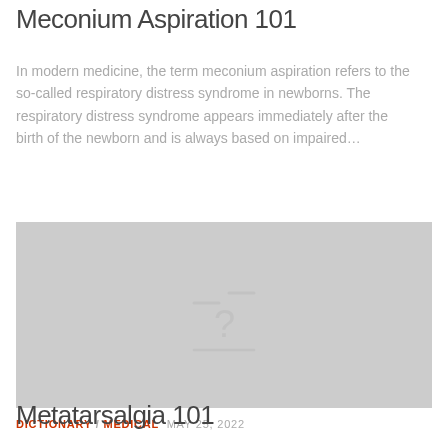Meconium Aspiration 101
In modern medicine, the term meconium aspiration refers to the so-called respiratory distress syndrome in newborns. The respiratory distress syndrome appears immediately after the birth of the newborn and is always based on impaired…
[Figure (photo): Placeholder image with gray background and a faint question mark icon, representing a missing or unavailable image for the Meconium Aspiration article.]
DICTIONARY / MEDICAL  MAY 25, 2022
Metatarsalgia 101